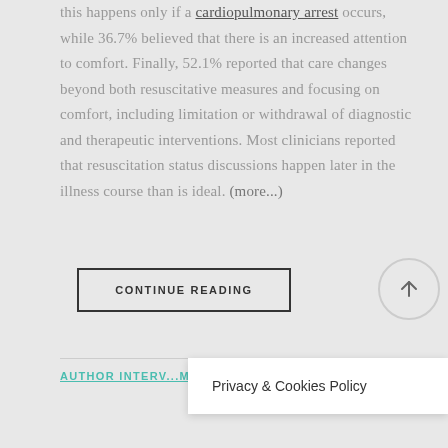this happens only if a cardiopulmonary arrest occurs, while 36.7% believed that there is an increased attention to comfort. Finally, 52.1% reported that care changes beyond both resuscitative measures and focusing on comfort, including limitation or withdrawal of diagnostic and therapeutic interventions. Most clinicians reported that resuscitation status discussions happen later in the illness course than is ideal. (more...)
CONTINUE READING
AUTHOR INTERV...MA.
Privacy & Cookies Policy